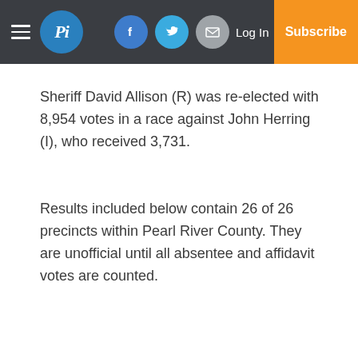Pi — Log In | Subscribe
Sheriff David Allison (R) was re-elected with 8,954 votes in a race against John Herring (I), who received 3,731.
Results included below contain 26 of 26 precincts within Pearl River County. They are unofficial until all absentee and affidavit votes are counted.